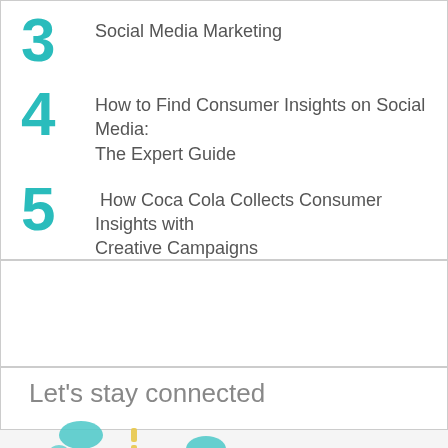3 Social Media Marketing
4 How to Find Consumer Insights on Social Media: The Expert Guide
5 How Coca Cola Collects Consumer Insights with Creative Campaigns
[Figure (other): Empty white box placeholder]
Let's stay connected
[Figure (illustration): Social media connection icons with teal and yellow colored bubble shapes]